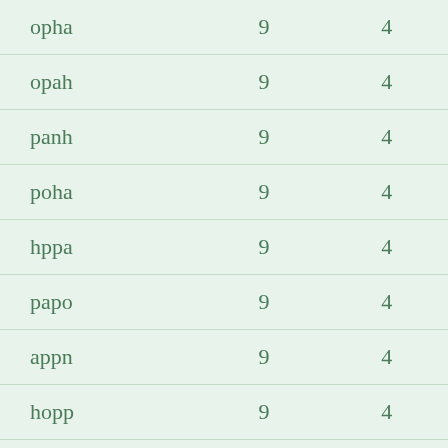| opha | 9 | 4 |
| opah | 9 | 4 |
| panh | 9 | 4 |
| poha | 9 | 4 |
| hppa | 9 | 4 |
| papo | 9 | 4 |
| appn | 9 | 4 |
| hopp | 9 | 4 |
| napp | 9 | 4 |
| nonp | 9 | 4 |